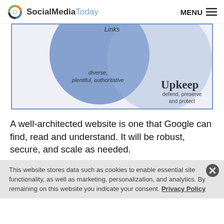SocialMediaToday  MENU
[Figure (infographic): Partial Venn diagram showing two overlapping circles on a light gray background with blue border. Left circle (blue, darker) contains text 'diverse, plentiful, authoritative'. Right circle (lighter blue/gray) is partially visible. Right area shows text 'Upkeep  defend, preserve and protect'. Top of left circle shows partially visible label 'Links'.]
A well-architected website is one that Google can find, read and understand. It will be robust, secure, and scale as needed.
This website stores data such as cookies to enable essential site functionality, as well as marketing, personalization, and analytics. By remaining on this website you indicate your consent. Privacy Policy